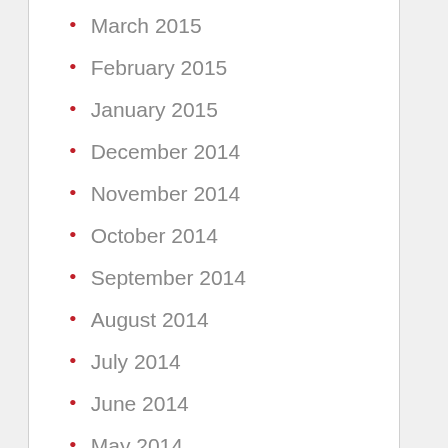March 2015
February 2015
January 2015
December 2014
November 2014
October 2014
September 2014
August 2014
July 2014
June 2014
May 2014
April 2014
March 2014